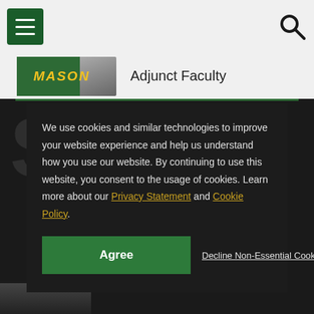Menu | Search
Adjunct Faculty
We use cookies and similar technologies to improve your website experience and help us understand how you use our website. By continuing to use this website, you consent to the usage of cookies. Learn more about our Privacy Statement and Cookie Policy.
Agree | Decline Non-Essential Cookies